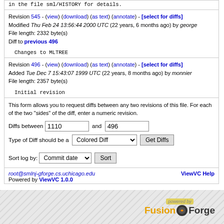in the file sml/HISTORY for details.
Revision 545 - (view) (download) (as text) (annotate) - [select for diffs]
Modified Thu Feb 24 13:56:44 2000 UTC (22 years, 6 months ago) by george
File length: 2332 byte(s)
Diff to previous 496
Changes to MLTREE
Revision 496 - (view) (download) (as text) (annotate) - [select for diffs]
Added Tue Dec 7 15:43:07 1999 UTC (22 years, 8 months ago) by monnier
File length: 2357 byte(s)
Initial revision
This form allows you to request diffs between any two revisions of this file. For each of the two "sides" of the diff, enter a numeric revision.
Diffs between 1110 and 496
Type of Diff should be a Colored Diff  Get Diffs
Sort log by: Commit date  Sort
root@smlnj-gforge.cs.uchicago.edu   ViewVC Help
Powered by ViewVC 1.0.0